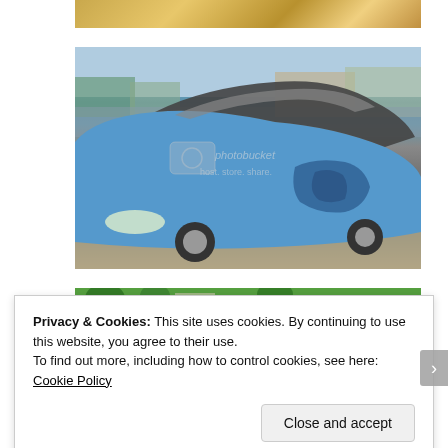[Figure (photo): Partial view of a tent or tarp, upper portion of image, cropped at top]
[Figure (photo): Wrecked blue car (appears to be a Pontiac or similar model) in a junkyard/salvage yard. The car has severe damage to the roof, windshield, and driver's side door. Multiple other vehicles visible in background. Photobucket watermark overlay visible.]
[Figure (photo): Bottom partial photo showing trees and structures, cropped]
Privacy & Cookies: This site uses cookies. By continuing to use this website, you agree to their use.
To find out more, including how to control cookies, see here: Cookie Policy
Close and accept